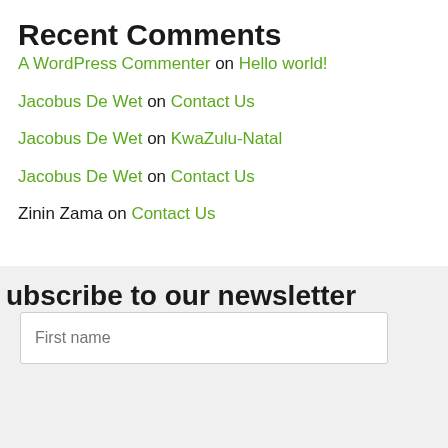Recent Comments
A WordPress Commenter on Hello world!
Jacobus De Wet on Contact Us
Jacobus De Wet on KwaZulu-Natal
Jacobus De Wet on Contact Us
Zinin Zama on Contact Us
ubscribe to our newsletter
First name